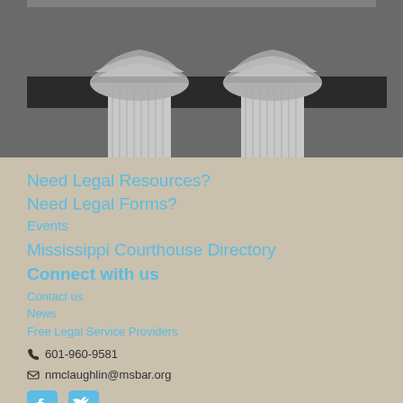[Figure (photo): Black and white photograph of ornate classical courthouse columns with decorative Corinthian capitals]
Need Legal Resources?
Need Legal Forms?
Events
Mississippi Courthouse Directory
Connect with us
Contact us
News
Free Legal Service Providers
601-960-9581
nmclaughlin@msbar.org
[Figure (logo): Facebook and Twitter social media icons in blue]